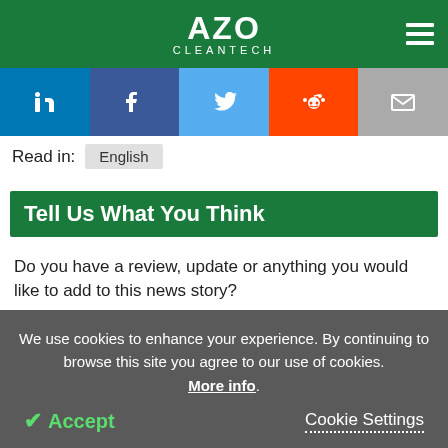AZO CLEANTECH
[Figure (infographic): Social sharing bar with LinkedIn, Facebook, Twitter, Reddit, and Email icons]
Read in: English
Tell Us What You Think
Do you have a review, update or anything you would like to add to this news story?
Leave your feedback
We use cookies to enhance your experience. By continuing to browse this site you agree to our use of cookies. More info. Accept  Cookie Settings